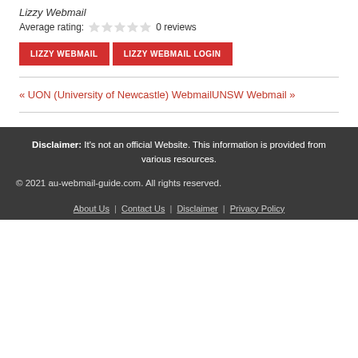Lizzy Webmail
Average rating: 0 reviews
LIZZY WEBMAIL  LIZZY WEBMAIL LOGIN
« UON (University of Newcastle) WebmailUNSW Webmail »
Disclaimer: It's not an official Website. This information is provided from various resources.
© 2021 au-webmail-guide.com. All rights reserved.
About Us | Contact Us | Disclaimer | Privacy Policy